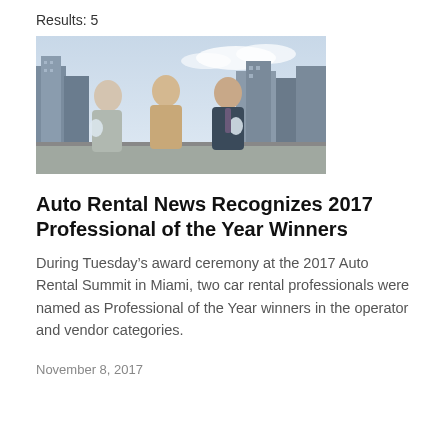Results: 5
[Figure (photo): Three professionals standing outdoors on a rooftop or terrace against a city skyline backdrop, two of them holding glass award trophies. A woman with blonde hair is on the left in a gray jacket, a man in a tan suit with a pink shirt is in the center, and a man in a dark suit with a tie is on the right.]
Auto Rental News Recognizes 2017 Professional of the Year Winners
During Tuesday’s award ceremony at the 2017 Auto Rental Summit in Miami, two car rental professionals were named as Professional of the Year winners in the operator and vendor categories.
November 8, 2017